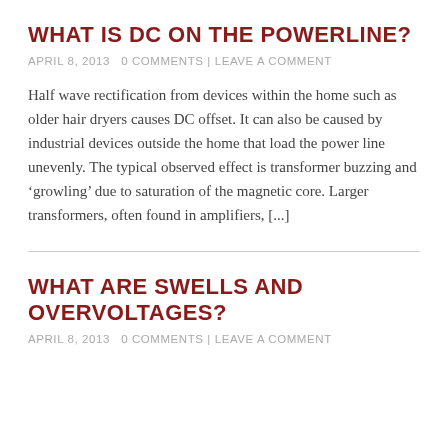WHAT IS DC ON THE POWERLINE?
APRIL 8, 2013   0 COMMENTS | LEAVE A COMMENT
Half wave rectification from devices within the home such as older hair dryers causes DC offset. It can also be caused by industrial devices outside the home that load the power line unevenly. The typical observed effect is transformer buzzing and ‘growling’ due to saturation of the magnetic core. Larger transformers, often found in amplifiers, [...]
WHAT ARE SWELLS AND OVERVOLTAGES?
APRIL 8, 2013   0 COMMENTS | LEAVE A COMMENT